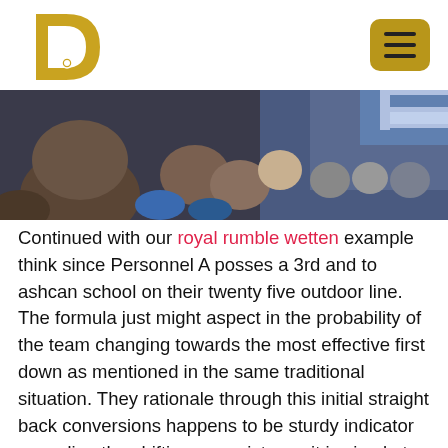[Figure (logo): Golden letter D with microphone logo]
[Figure (photo): Crowd of people at a sports event viewed from behind, stadium seating visible in background]
Continued with our royal rumble wetten example think since Personnel A posses a 3rd and to ashcan school on their twenty five outdoor line. The formula just might aspect in the probability of the team changing towards the most effective first down as mentioned in the same traditional situation. They rationale through this initial straight back conversions happens to be sturdy indicator regarding the shifting a persistence it is simple to strategies. As soon as Personnel A may have been adjust and then this will likely immediately always be taken into consideration as well as to the chances changes. There are 2 preliminary techniques to earn income